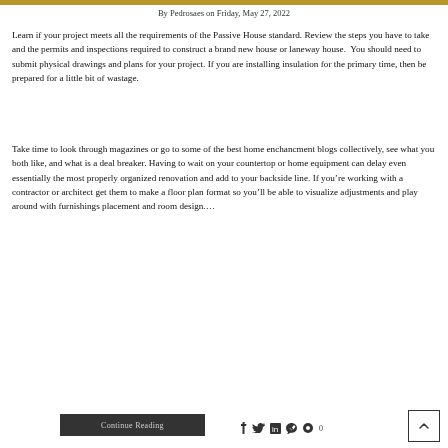By Pedrosaes on Friday, May 27, 2022
Learn if your project meets all the requirements of the Passive House standard. Review the steps you have to take and the permits and inspections required to construct a brand new house or laneway house.  You should need to submit physical drawings and plans for your project. If you are installing insulation for the primary time, then be prepared for a little bit of wastage.
Take time to look through magazines or go to some of the best home enchancment blogs collectively, see what you both like, and what is a deal breaker. Having to wait on your countertop or home equipment can delay even essentially the most properly organized renovation and add to your backside line. If you’re working with a contractor or architect get them to make a floor plan format so you’ll be able to visualize adjustments and play around with furnishings placement and room design.…
Continue Reading
0